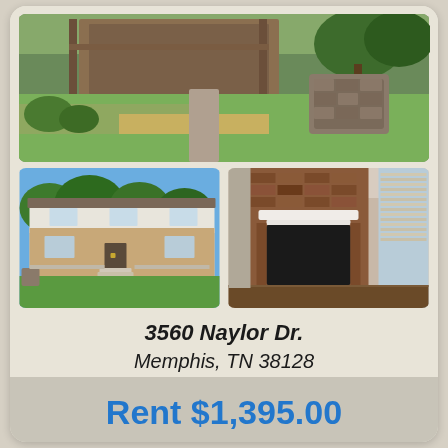[Figure (photo): Aerial/side view of a house with green and brown lawn, stone garden structure, and driveway visible]
[Figure (photo): Front exterior of a two-story brick and white house with green lawn and stone garden bed]
[Figure (photo): Interior living room with brick fireplace accent wall, white mantel, dark wood floor]
3560 Naylor Dr.
Memphis, TN 38128
Rent $1,395.00